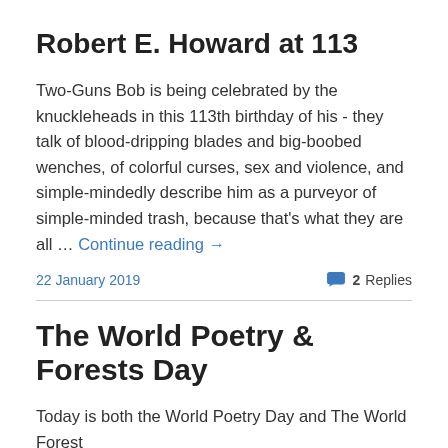Robert E. Howard at 113
Two-Guns Bob is being celebrated by the knuckleheads in this 113th birthday of his - they talk of blood-dripping blades and big-boobed wenches, of colorful curses, sex and violence, and simple-mindedly describe him as a purveyor of simple-minded trash, because that's what they are all … Continue reading →
22 January 2019   2 Replies
The World Poetry & Forests Day
Today is both the World Poetry Day and The World Forest